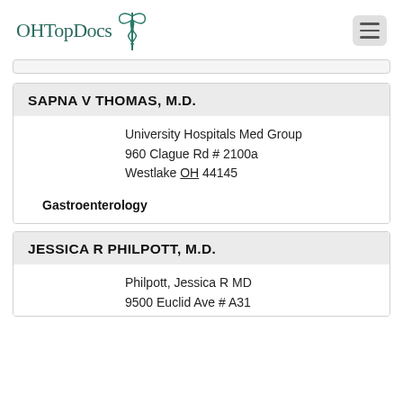OHTopDocs
SAPNA V THOMAS, M.D.
University Hospitals Med Group
960 Clague Rd # 2100a
Westlake OH 44145
Gastroenterology
JESSICA R PHILPOTT, M.D.
Philpott, Jessica R MD
9500 Euclid Ave # A31